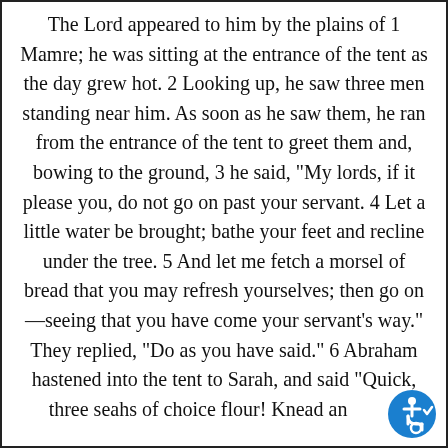The Lord appeared to him by the plains of 1 Mamre; he was sitting at the entrance of the tent as the day grew hot. 2 Looking up, he saw three men standing near him. As soon as he saw them, he ran from the entrance of the tent to greet them and, bowing to the ground, 3 he said, "My lords, if it please you, do not go on past your servant. 4 Let a little water be brought; bathe your feet and recline under the tree. 5 And let me fetch a morsel of bread that you may refresh yourselves; then go on—seeing that you have come your servant's way." They replied, "Do as you have said." 6 Abraham hastened into the tent to Sarah, and said "Quick, three seahs of choice flour! Knead and